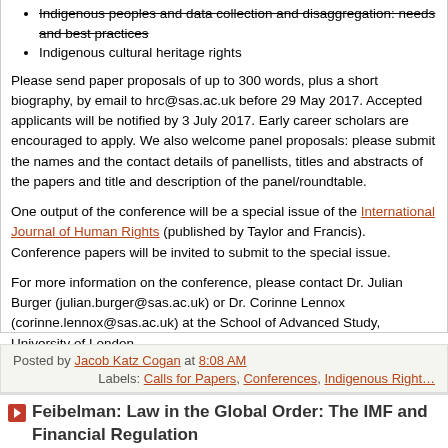Indigenous peoples and data collection and disaggregation: needs and best practices
Indigenous cultural heritage rights
Please send paper proposals of up to 300 words, plus a short biography, by email to hrc@sas.ac.uk before 29 May 2017. Accepted applicants will be notified by 3 July 2017. Early career scholars are encouraged to apply. We also welcome panel proposals: please submit the names and the contact details of panellists, titles and abstracts of the papers and title and description of the panel/roundtable.
One output of the conference will be a special issue of the International Journal of Human Rights (published by Taylor and Francis). Conference papers will be invited to submit to the special issue.
For more information on the conference, please contact Dr. Julian Burger (julian.burger@sas.ac.uk) or Dr. Corinne Lennox (corinne.lennox@sas.ac.uk) at the School of Advanced Study, University of London.
Posted by Jacob Katz Cogan at 8:08 AM
Labels: Calls for Papers, Conferences, Indigenous Rights
Feibelman: Law in the Global Order: The IMF and Financial Regulation